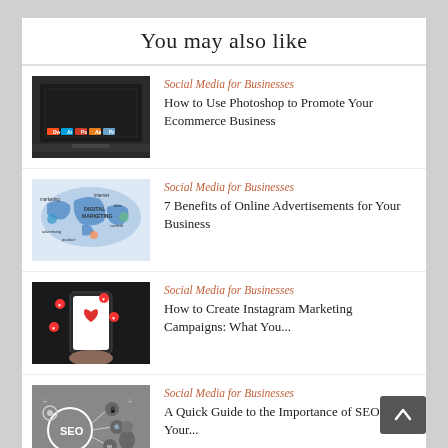You may also like
[Figure (photo): Laptop with Adobe Creative Suite icons on screen]
Social Media for Businesses
How to Use Photoshop to Promote Your Ecommerce Business
[Figure (photo): Digital marketing world map illustration with keywords]
Social Media for Businesses
7 Benefits of Online Advertisements for Your Business
[Figure (photo): Person holding smartphone with heart and social media icons]
Social Media for Businesses
How to Create Instagram Marketing Campaigns: What You...
[Figure (photo): SEO concept with person and icons]
Social Media for Businesses
A Quick Guide to the Importance of SEO for Your...
[Figure (photo): Online text graphic]
Social Media for Businesses